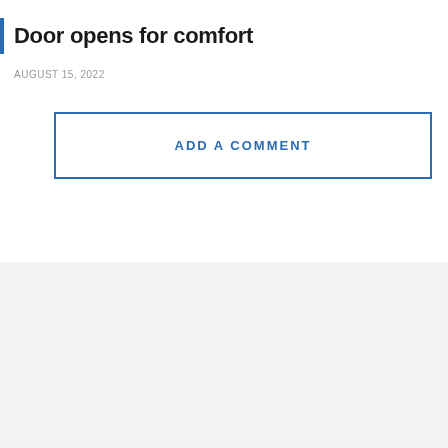Door opens for comfort
AUGUST 15, 2022
ADD A COMMENT